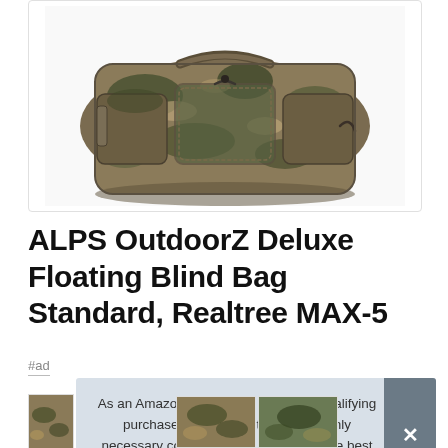[Figure (photo): ALPS OutdoorZ Deluxe Floating Blind Bag in Realtree MAX-5 camouflage pattern, shown from the front with multiple pockets and straps visible]
ALPS OutdoorZ Deluxe Floating Blind Bag Standard, Realtree MAX-5
#ad
As an Amazon Associate I earn from qualifying purchases. This website uses the only necessary cookies to ensure you get the best experience on our website. More information
[Figure (photo): Partial view of a camo bag at bottom left]
[Figure (photo): Thumbnail image of product - camo pattern]
[Figure (photo): Thumbnail image of product - camo pattern view 2]